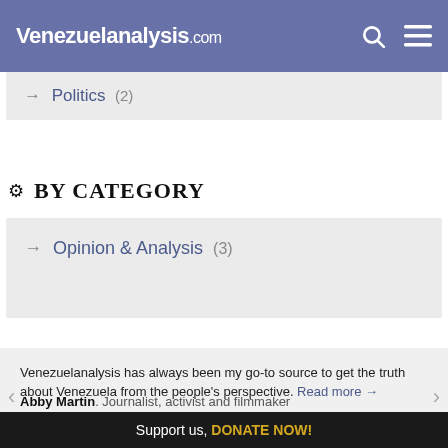Venezuelanalysis.com
→ Politics (2)
BY CATEGORY
→ Opinion & Analysis (3)
Venezuelanalysis has always been my go-to source to get the truth about Venezuela from the people's perspective. Read more →
Abby Martin. Journalist, activist and filmmaker
Support us, DONATE NOW!